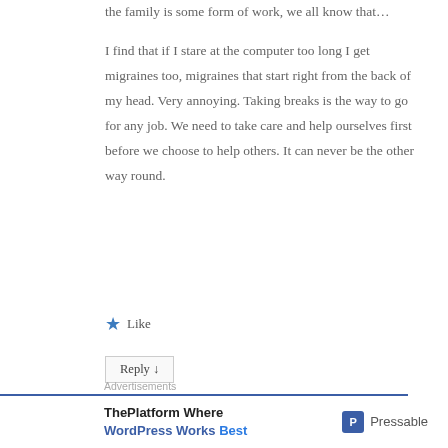the family is some form of work, we all know that…
I find that if I stare at the computer too long I get migraines too, migraines that start right from the back of my head. Very annoying. Taking breaks is the way to go for any job. We need to take care and help ourselves first before we choose to help others. It can never be the other way round.
★ Like
Reply ↓
Advertisements
ThePlatform Where WordPress Works Best   Pressable